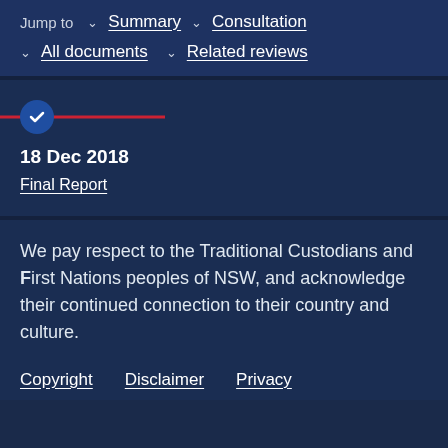Jump to  Summary  Consultation  All documents  Related reviews
18 Dec 2018
Final Report
We pay respect to the Traditional Custodians and First Nations peoples of NSW, and acknowledge their continued connection to their country and culture.
Copyright  Disclaimer  Privacy